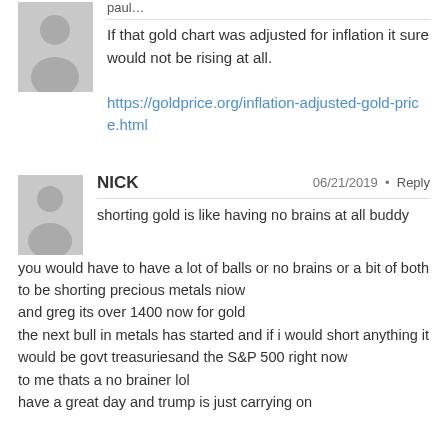[Figure (illustration): Gray placeholder avatar icon for first commenter (paul...)]
paul…
If that gold chart was adjusted for inflation it sure would not be rising at all.
https://goldprice.org/inflation-adjusted-gold-price.html
[Figure (illustration): Gray placeholder avatar icon for commenter NICK]
NICK
06/21/2019 • Reply
shorting gold is like having no brains at all buddy
you would have to have a lot of balls or no brains or a bit of both to be shorting precious metals niow
and greg its over 1400 now for gold
the next bull in metals has started and if i would short anything it would be govt treasuriesand the S&P 500 right now
to me thats a no brainer lol
have a great day and trump is just carrying on